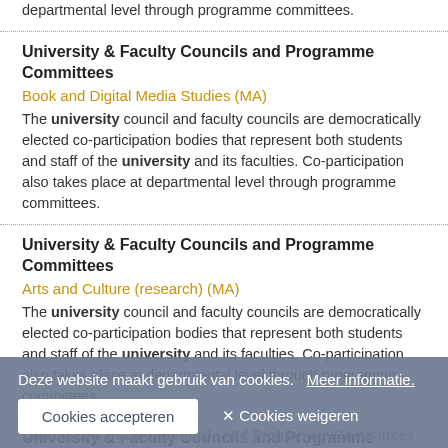departmental level through programme committees.
University & Faculty Councils and Programme Committees
Book and Digital Media Studies (MA)
The university council and faculty councils are democratically elected co-participation bodies that represent both students and staff of the university and its faculties. Co-participation also takes place at departmental level through programme committees.
University & Faculty Councils and Programme Committees
Arts and Culture (research) (MA)
The university council and faculty councils are democratically elected co-participation bodies that represent both students and staff of the university and its faculties. Co-participation also takes place at departmental level through programme committees.
University & Faculty Councils and Programme Committees
Philosophy of Humanities (MA)
The university council and faculty councils are democratically elected co-participation bodies that represent both students and staff of the university and its faculties. Co-participation also takes place at
University & Faculty Councils and Programme Committees
Deze website maakt gebruik van cookies.  Meer informatie.
Cookies accepteren
✕ Cookies weigeren